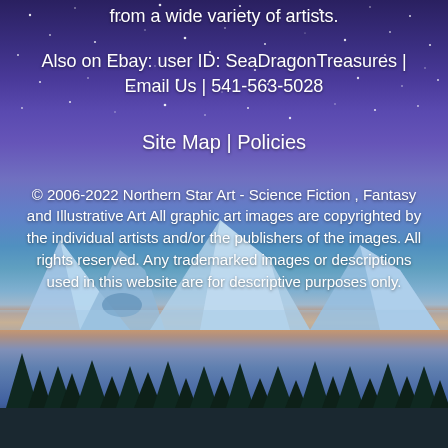from a wide variety of artists.
Also on Ebay: user ID: SeaDragonTreasures | Email Us | 541-563-5028
Site Map | Policies
© 2006-2022 Northern Star Art - Science Fiction , Fantasy and Illustrative Art All graphic art images are copyrighted by the individual artists and/or the publishers of the images. All rights reserved. Any trademarked images or descriptions used in this website are for descriptive purposes only.
[Figure (illustration): Night scene with starry sky, icebergs in water, and silhouetted pine trees in foreground]